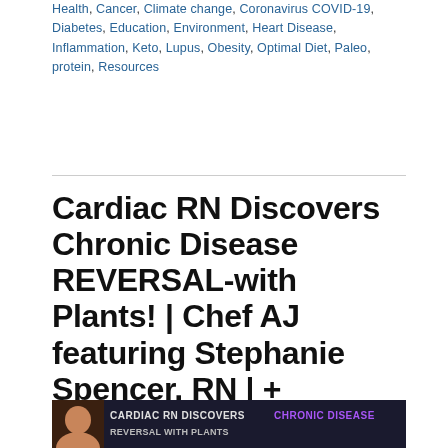Health, Cancer, Climate change, Coronavirus COVID-19, Diabetes, Education, Environment, Heart Disease, Inflammation, Keto, Lupus, Obesity, Optimal Diet, Paleo, protein, Resources
Cardiac RN Discovers Chronic Disease REVERSAL-with Plants! | Chef AJ featuring Stephanie Spencer, RN | + “Kitchen Sink Smoothie” w/ 22 Gm Fiber
[Figure (photo): Thumbnail image with dark background showing text 'CARDIAC RN DISCOVERS CHRONIC DISEASE' with a person's photo on the left side]